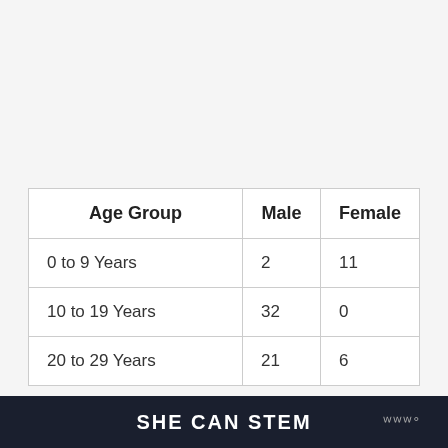| Age Group | Male | Female |
| --- | --- | --- |
| 0 to 9 Years | 2 | 11 |
| 10 to 19 Years | 32 | 0 |
| 20 to 29 Years | 21 | 6 |
SHE CAN STEM